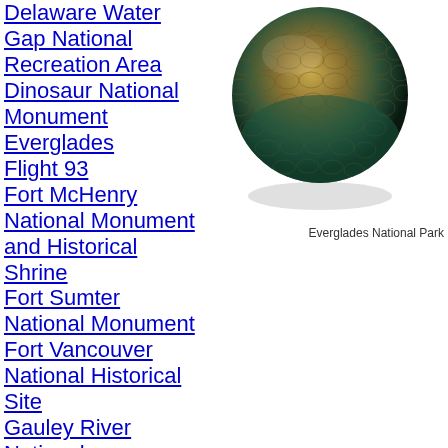Delaware Water Gap National Recreation Area
Dinosaur National Monument
Everglades
Flight 93
Fort McHenry National Monument and Historical Shrine
Fort Sumter National Monument
Fort Vancouver National Historical Site
Gauley River National Recreational Area
Golden Spike National Historic Site
Herbert Hoover National Historic Site
[Figure (photo): Close-up photograph of a reptile (likely an alligator or crocodile) head/scales, shown as a globe-like sphere with shadow beneath, associated with Everglades National Park]
Everglades National Park